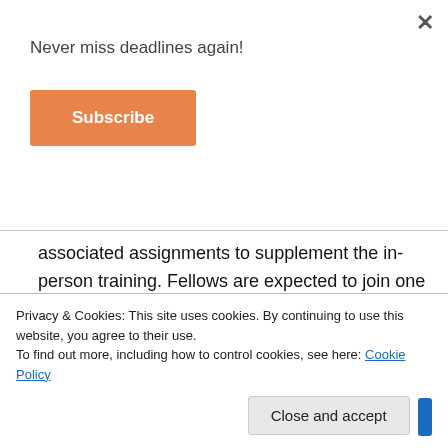Never miss deadlines again!
Subscribe
associated assignments to supplement the in-person training. Fellows are expected to join one orientation webinar prior to the training workshop, as well as attend post-institute online lectures.
Online training workshop: Participants will
makers. At the summer institute, the
Privacy & Cookies: This site uses cookies. By continuing to use this website, you agree to their use.
To find out more, including how to control cookies, see here: Cookie Policy
Close and accept